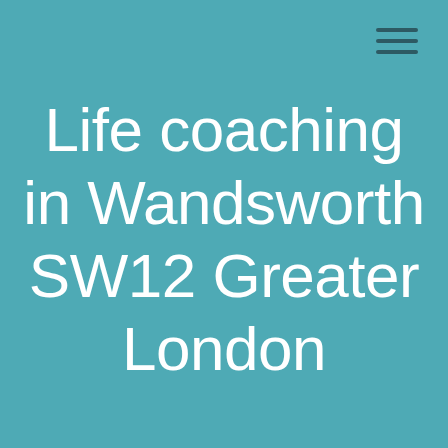[Figure (other): Hamburger menu icon with three horizontal dark teal lines in the top-right corner]
Life coaching in Wandsworth SW12 Greater London